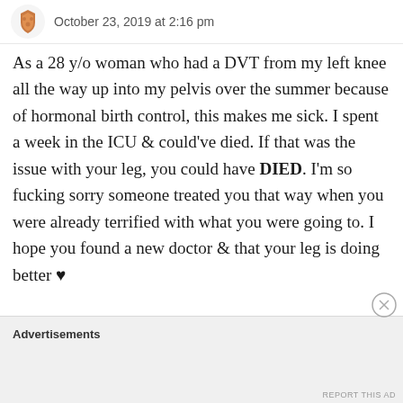October 23, 2019 at 2:16 pm
As a 28 y/o woman who had a DVT from my left knee all the way up into my pelvis over the summer because of hormonal birth control, this makes me sick. I spent a week in the ICU & could've died. If that was the issue with your leg, you could have DIED. I'm so fucking sorry someone treated you that way when you were already terrified with what you were going to. I hope you found a new doctor & that your leg is doing better ♥
Advertisements